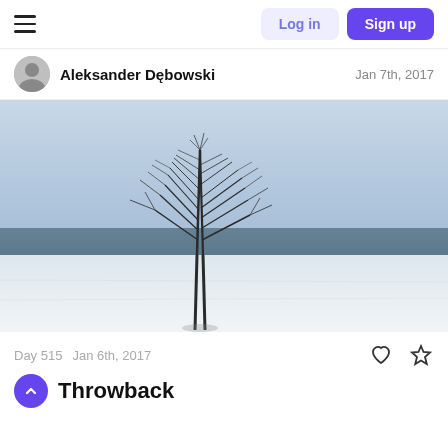Log in | Sign up
Aleksander Dębowski   Jan 7th, 2017
[Figure (photo): A lone bare tree in winter snow with a misty blue lake or sea in the background and a snow-covered foreground]
Day 515   Jan 6th, 2017
Throwback